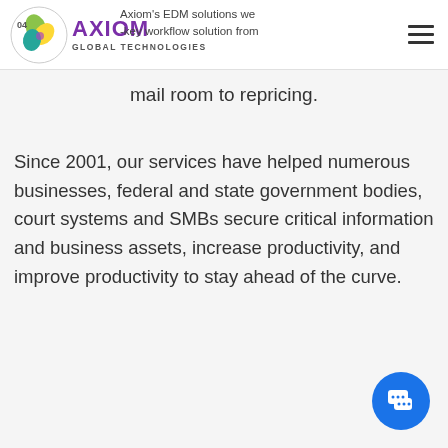Axiom Global Technologies — Axiom's EDM solutions we... -key workflow solution from mail room to repricing.
Since 2001, our services have helped numerous businesses, federal and state government bodies, court systems and SMBs secure critical information and business assets, increase productivity, and improve productivity to stay ahead of the curve.
[Figure (illustration): Blue circular chat/messenger button in bottom right corner]